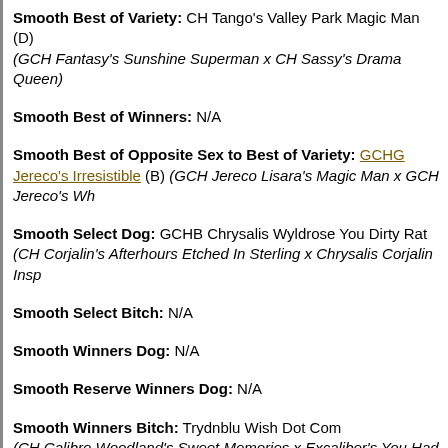Smooth Best of Variety: CH Tango's Valley Park Magic Man (D) (GCH Fantasy's Sunshine Superman x CH Sassy's Drama Queen)
Smooth Best of Winners: N/A
Smooth Best of Opposite Sex to Best of Variety: GCHG Jereco's Irresistible (B) (GCH Jereco Lisara's Magic Man x GCH Jereco's Wh...
Smooth Select Dog: GCHB Chrysalis Wyldrose You Dirty Rat (CH Corjalin's Afterhours Etched In Sterling x Chrysalis Corjalin Insp...
Smooth Select Bitch: N/A
Smooth Winners Dog: N/A
Smooth Reserve Winners Dog: N/A
Smooth Winners Bitch: Trydnblu Wish Dot Com (CH Calibre Woodland's Sweet Memories x Excaliber's You Had Me...
Smooth Reserve Winners Bitch: Lynmar's Dark Night Dancing